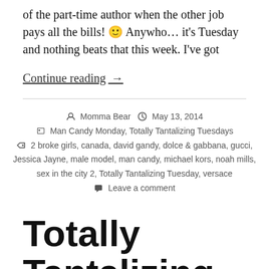of the part-time author when the other job pays all the bills! 🙂 Anywho… it's Tuesday and nothing beats that this week. I've got
Continue reading →
Momma Bear  May 13, 2014
Man Candy Monday, Totally Tantalizing Tuesdays
2 broke girls, canada, david gandy, dolce & gabbana, gucci, Jessica Jayne, male model, man candy, michael kors, noah mills, sex in the city 2, Totally Tantalizing Tuesday, versace
Leave a comment
Totally Tantalizing Tuesday – Joo